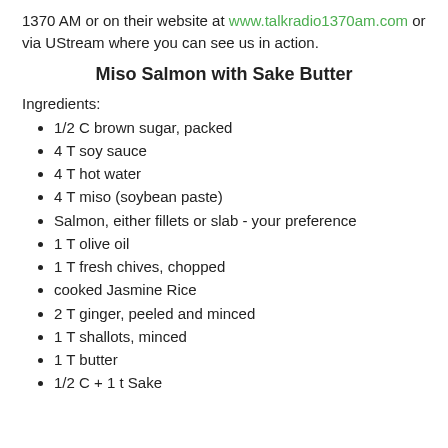1370 AM or on their website at www.talkradio1370am.com or via UStream where you can see us in action.
Miso Salmon with Sake Butter
Ingredients:
1/2 C brown sugar, packed
4 T soy sauce
4 T hot water
4 T miso (soybean paste)
Salmon, either fillets or slab - your preference
1 T olive oil
1 T fresh chives, chopped
cooked Jasmine Rice
2 T ginger, peeled and minced
1 T shallots, minced
1 T butter
1/2 C + 1 t Sake